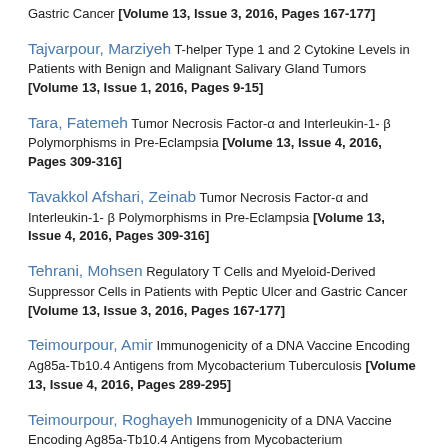Gastric Cancer [Volume 13, Issue 3, 2016, Pages 167-177]
Tajvarpour, Marziyeh T-helper Type 1 and 2 Cytokine Levels in Patients with Benign and Malignant Salivary Gland Tumors [Volume 13, Issue 1, 2016, Pages 9-15]
Tara, Fatemeh Tumor Necrosis Factor-α and Interleukin-1- β Polymorphisms in Pre-Eclampsia [Volume 13, Issue 4, 2016, Pages 309-316]
Tavakkol Afshari, Zeinab Tumor Necrosis Factor-α and Interleukin-1- β Polymorphisms in Pre-Eclampsia [Volume 13, Issue 4, 2016, Pages 309-316]
Tehrani, Mohsen Regulatory T Cells and Myeloid-Derived Suppressor Cells in Patients with Peptic Ulcer and Gastric Cancer [Volume 13, Issue 3, 2016, Pages 167-177]
Teimourpour, Amir Immunogenicity of a DNA Vaccine Encoding Ag85a-Tb10.4 Antigens from Mycobacterium Tuberculosis [Volume 13, Issue 4, 2016, Pages 289-295]
Teimourpour, Roghayeh Immunogenicity of a DNA Vaccine Encoding Ag85a-Tb10.4 Antigens from Mycobacterium